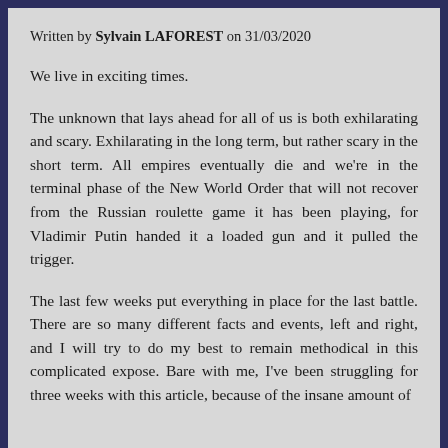Written by Sylvain LAFOREST on 31/03/2020
We live in exciting times.
The unknown that lays ahead for all of us is both exhilarating and scary. Exhilarating in the long term, but rather scary in the short term. All empires eventually die and we're in the terminal phase of the New World Order that will not recover from the Russian roulette game it has been playing, for Vladimir Putin handed it a loaded gun and it pulled the trigger.
The last few weeks put everything in place for the last battle. There are so many different facts and events, left and right, and I will try to do my best to remain methodical in this complicated expose. Bare with me, I've been struggling for three weeks with this article, because of the insane amount of